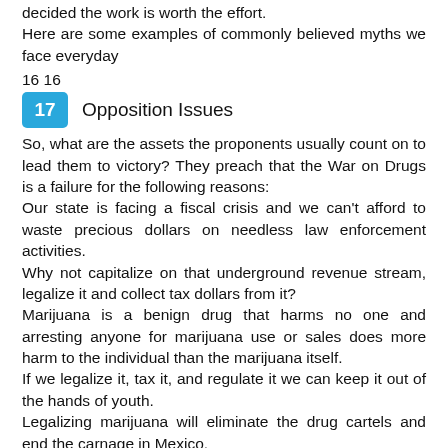decided the work is worth the effort.
Here are some examples of commonly believed myths we face everyday
16 16
17  Opposition Issues
So, what are the assets the proponents usually count on to lead them to victory? They preach that the War on Drugs is a failure for the following reasons:
Our state is facing a fiscal crisis and we can't afford to waste precious dollars on needless law enforcement activities.
Why not capitalize on that underground revenue stream, legalize it and collect tax dollars from it?
Marijuana is a benign drug that harms no one and arresting anyone for marijuana use or sales does more harm to the individual than the marijuana itself.
If we legalize it, tax it, and regulate it we can keep it out of the hands of youth.
Legalizing marijuana will eliminate the drug cartels and end the carnage in Mexico.
We face many challenges as marijuana preventionists, popular culture says its ok and harmless to use marijuana, the media doesn't cover the negative effects, there are only a few of us doing the work, and there is a widespread